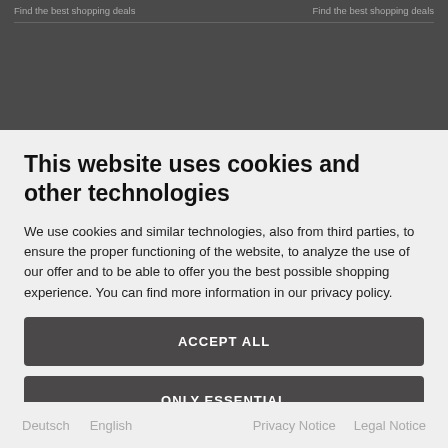This website uses cookies and other technologies
This website uses cookies and other technologies
We use cookies and similar technologies, also from third parties, to ensure the proper functioning of the website, to analyze the use of our offer and to be able to offer you the best possible shopping experience. You can find more information in our privacy policy.
ACCEPT ALL
ONLY ESSENTIAL
Customize settings
Deutsch   English   Privacy Notice   Legal Notice